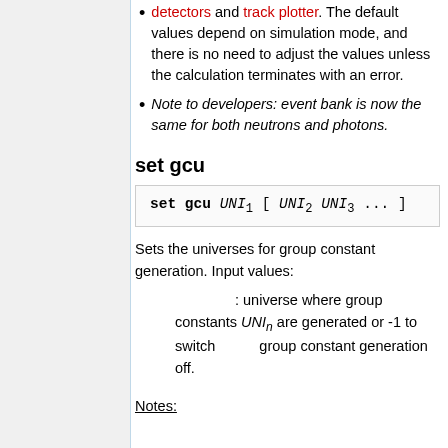detectors and track plotter. The default values depend on simulation mode, and there is no need to adjust the values unless the calculation terminates with an error.
Note to developers: event bank is now the same for both neutrons and photons.
set gcu
Sets the universes for group constant generation. Input values:
UNIn : universe where group constants are generated or -1 to switch group constant generation off.
Notes: